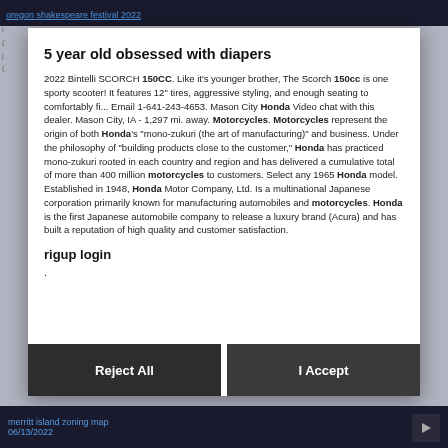oregon shakespeare festival 2022
5 year old obsessed with diapers
2022 Bintelli SCORCH 150CC. Like it’s younger brother, The Scorch 150cc is one sporty scooter! It features 12” tires, aggressive styling, and enough seating to comfortably fi... Email 1-641-243-4653. Mason City Honda Video chat with this dealer. Mason City, IA - 1,297 mi. away. Motorcycles. Motorcycles represent the origin of both Honda’s “mono-zukuri (the art of manufacturing)” and business. Under the philosophy of “building products close to the customer,” Honda has practiced mono-zukuri rooted in each country and region and has delivered a cumulative total of more than 400 million motorcycles to customers. Select any 1965 Honda model. Established in 1948, Honda Motor Company, Ltd. Is a multinational Japanese corporation primarily known for manufacturing automobiles and motorcycles. Honda is the first Japanese automobile company to release a luxury brand (Acura) and has built a reputation of high quality and customer satisfaction.
rigup login
.
merritt island zoning map 06/13/2022